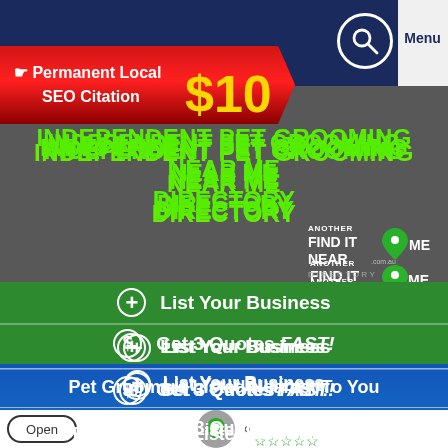Menu
[Figure (infographic): Red banner: Permanent Local SEO Citation $10]
INDEPENDENT PET GROOMING NEAR ME DIRECTORY
[Figure (logo): Another Find It Near Me .com.au Directory logo]
List Your Business
Get 3 Quotes FAST!
Pet Groomers Listed Nearest To You
[Figure (screenshot): Map with location pin, Open badge, infinity symbol, and 5-star rating outline]